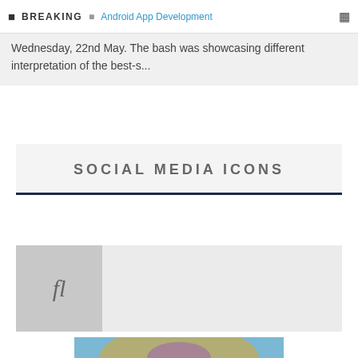BREAKING | Android App Development
Wednesday, 22nd May. The bash was showcasing different interpretation of the best-s...
SOCIAL MEDIA ICONS
[Figure (other): Card thumbnail with italic 'fl' icon on gray background]
[Figure (illustration): Illustrated golden gauntlet with purple gem on blue background]